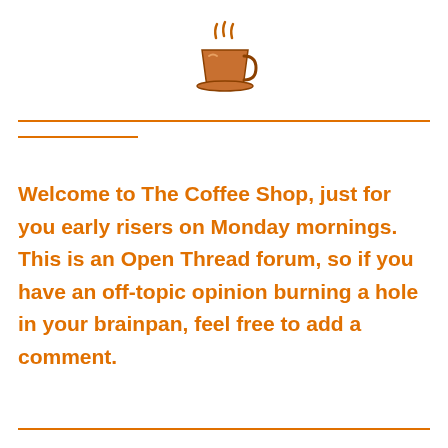[Figure (illustration): A steaming coffee cup icon in brown/orange colors with steam lines rising above it, sitting on a saucer.]
Welcome to The Coffee Shop, just for you early risers on Monday mornings. This is an Open Thread forum, so if you have an off-topic opinion burning a hole in your brainpan, feel free to add a comment.